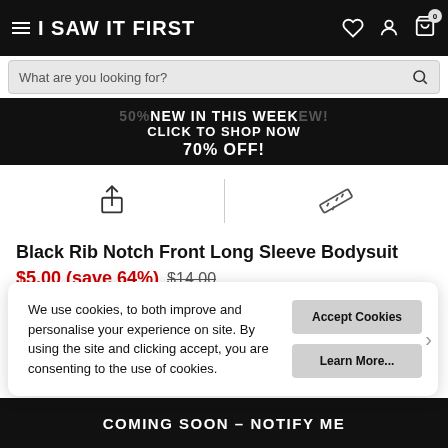I SAW IT FIRST
What are you looking for?
50% NEW IN THIS WEEK EW! CLICK TO SHOP NOW 70% OFF!
[Figure (illustration): Share icon (upload arrow) and a ruler icon separated by a vertical divider]
Black Rib Notch Front Long Sleeve Bodysuit
$5.00 (save 64%) $14.00
We use cookies, to both improve and personalise your experience on site. By using the site and clicking accept, you are consenting to the use of cookies.
Accept Cookies
Learn More...
COMING SOON – NOTIFY ME